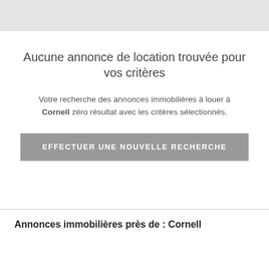Aucune annonce de location trouvée pour vos critères
Votre recherche des annonces immobilières à louer à Cornell zéro résultat avec les critères sélectionnés.
EFFECTUER UNE NOUVELLE RECHERCHE
Annonces immobilières près de : Cornell